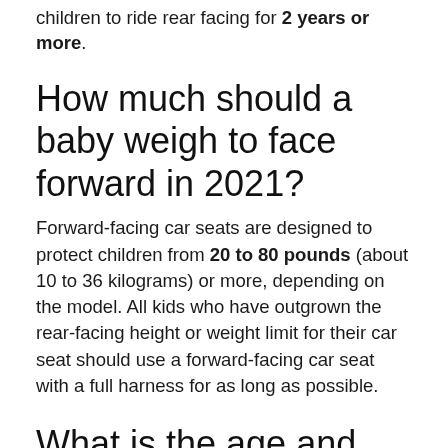children to ride rear facing for 2 years or more.
How much should a baby weigh to face forward in 2021?
Forward-facing car seats are designed to protect children from 20 to 80 pounds (about 10 to 36 kilograms) or more, depending on the model. All kids who have outgrown the rear-facing height or weight limit for their car seat should use a forward-facing car seat with a full harness for as long as possible.
What is the age and weight